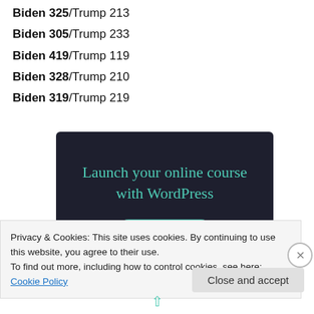Biden 325/Trump 213
Biden 305/Trump 233
Biden 419/Trump 119
Biden 328/Trump 210
Biden 319/Trump 219
[Figure (infographic): Advertisement banner with dark background. Text: 'Launch your online course with WordPress' in teal color, with a teal 'Learn More' button.]
Privacy & Cookies: This site uses cookies. By continuing to use this website, you agree to their use.
To find out more, including how to control cookies, see here: Cookie Policy
Close and accept